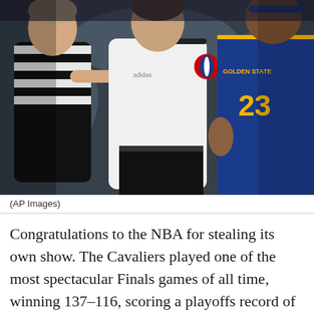[Figure (photo): An NBA referee in white shirt with Adidas logo and NBA logo stands between two players, one wearing a Golden State Warriors blue jersey number 23. Another referee in black and white striped shirt is visible on the left.]
(AP Images)
Congratulations to the NBA for stealing its own show. The Cavaliers played one of the most spectacular Finals games of all time, winning 137–116, scoring a playoffs record of 86 points in the first half, and hitting a Finals record of 24 3s to extend the season to a Game 5 while the sport's